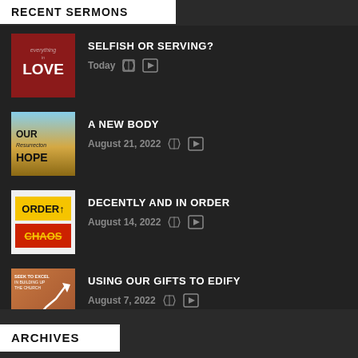RECENT SERMONS
SELFISH OR SERVING? — Today
A NEW BODY — August 21, 2022
DECENTLY AND IN ORDER — August 14, 2022
USING OUR GIFTS TO EDIFY — August 7, 2022
ARCHIVES